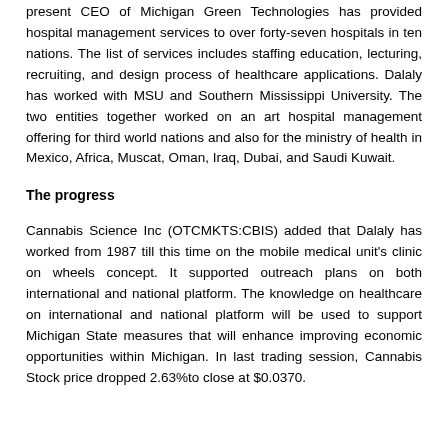present CEO of Michigan Green Technologies has provided hospital management services to over forty-seven hospitals in ten nations. The list of services includes staffing education, lecturing, recruiting, and design process of healthcare applications. Dalaly has worked with MSU and Southern Mississippi University. The two entities together worked on an art hospital management offering for third world nations and also for the ministry of health in Mexico, Africa, Muscat, Oman, Iraq, Dubai, and Saudi Kuwait.
The progress
Cannabis Science Inc (OTCMKTS:CBIS) added that Dalaly has worked from 1987 till this time on the mobile medical unit's clinic on wheels concept. It supported outreach plans on both international and national platform. The knowledge on healthcare on international and national platform will be used to support Michigan State measures that will enhance improving economic opportunities within Michigan. In last trading session, Cannabis Stock price dropped 2.63%to close at $0.0370.